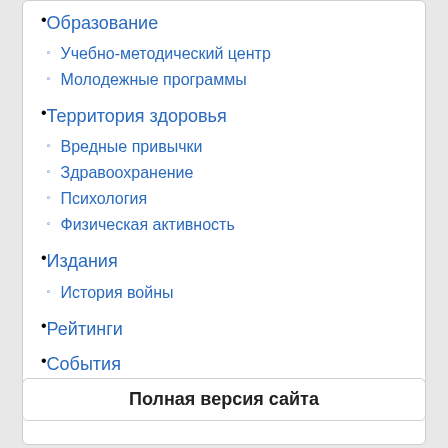Образование
Учебно-методический центр
Молодежные программы
Территория здоровья
Вредные привычки
Здравоохранение
Психология
Физическая активность
Издания
История войны
Рейтинги
События
Признание
Полная версия сайта